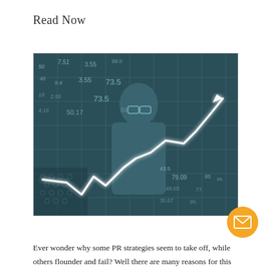Read Now
[Figure (photo): Man with glasses looking at a financial stock market board with numbers overlaid, and a glowing white line chart trending upward superimposed over the image. Dark teal/blue color theme.]
Ever wonder why some PR strategies seem to take off, while others flounder and fail? Well there are many reasons for this